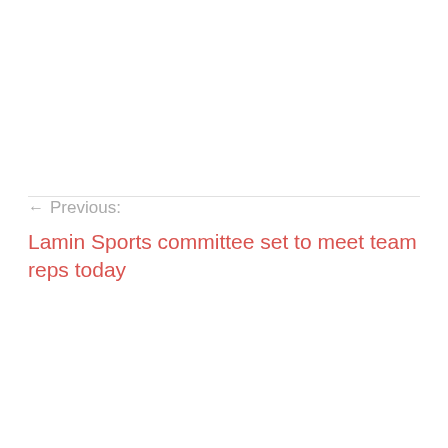← Previous:
Lamin Sports committee set to meet team reps today